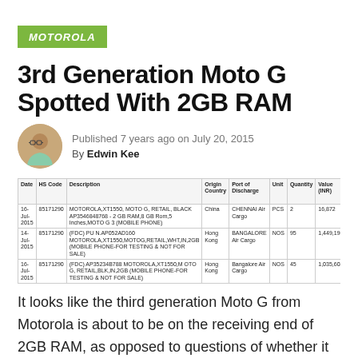MOTOROLA
3rd Generation Moto G Spotted With 2GB RAM
Published 7 years ago on July 20, 2015
By Edwin Kee
| Date | HS Code | Description | Origin Country | Port of Discharge | Unit | Quantity | Value (INR) | Per Unit (INR) |
| --- | --- | --- | --- | --- | --- | --- | --- | --- |
| 16-Jul-2015 | 85171290 | MOTOROLA,XT1550, MOTO G, RETAIL, BLACK AP3546848768 - 2 GB RAM,8 GB Rom,5 Inches,MOTO G 3 (MOBILE PHONE) | China | CHENNAI Air Cargo | PCS | 2 | 16,872 | 8,436 |
| 14-Jul-2015 | 85171290 | (FDC) PU N.AP052AD160 MOTOROLA,XT1550,MOTOG,RETAIL,WHT,IN,2GB (MOBILE PHONE-FOR TESTING & NOT FOR SALE) | Hong Kong | BANGALORE Air Cargo | NOS | 95 | 1,449,196 | 15,255 |
| 16-Jul-2015 | 85171290 | (FDC) AP35234B788 MOTOROLA,XT1550,M OTO G, RETAIL,BLK,IN,2GB (MOBILE PHONE-FOR TESTING & NOT FOR SALE) | Hong Kong | Bangalore Air Cargo | NOS | 45 | 1,035,604 | 15,125 |
It looks like the third generation Moto G from Motorola is about to be on the receiving end of 2GB RAM, as opposed to questions of whether it will come with just 1GB RAM or not. A posting on Indian export-import site Zauba has shown that 190 units of the upcoming third generation Moto G model were sent from Hong Kong to India for testing purposes, with half the number of those being